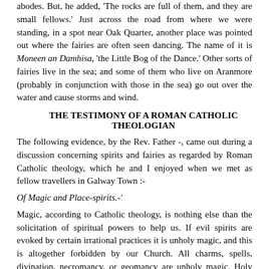abodes. But, he added, 'The rocks are full of them, and they are small fellows.' Just across the road from where we were standing, in a spot near Oak Quarter, another place was pointed out where the fairies are often seen dancing. The name of it is Moneen an Damhisa, 'the Little Bog of the Dance.' Other sorts of fairies live in the sea; and some of them who live on Aranmore (probably in conjunction with those in the sea) go out over the water and cause storms and wind.
THE TESTIMONY OF A ROMAN CATHOLIC THEOLOGIAN
The following evidence, by the Rev. Father -, came out during a discussion concerning spirits and fairies as regarded by Roman Catholic theology, which he and I enjoyed when we met as fellow travellers in Galway Town :-
Of Magic and Place-spirits.-'
Magic, according to Catholic theology, is nothing else than the solicitation of spiritual powers to help us. If evil spirits are evoked by certain irrational practices it is unholy magic, and this is altogether forbidden by our Church. All charms, spells, divination, necromancy, or geomancy are unholy magic. Holy magic is practiced by carrying the Cross in Christ. Now evil magic has been practiced here in Ireland: butter has been taken so that none came